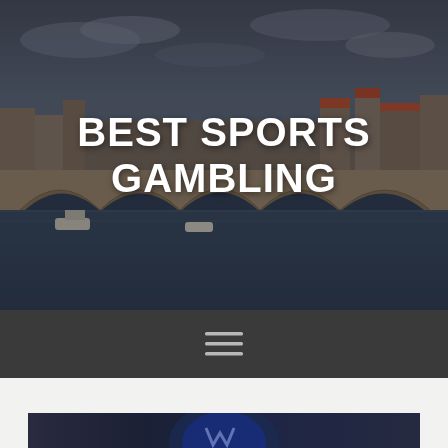[Figure (photo): Panoramic photo of a stone arch bridge over a river with city buildings in the background under a cloudy sky, used as a hero background image]
BEST SPORTS GAMBLING
[Figure (illustration): Dark navigation bar with a hamburger menu icon (three horizontal lines) centered]
[Figure (photo): Partial photo visible at the bottom of the page, showing what appears to be a baseball or sports logo, cropped]